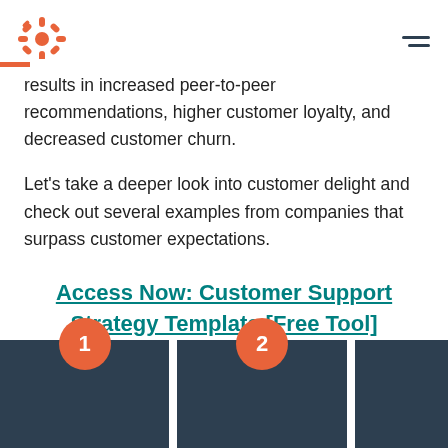HubSpot logo and navigation
results in increased peer-to-peer recommendations, higher customer loyalty, and decreased customer churn.
Let's take a deeper look into customer delight and check out several examples from companies that surpass customer expectations.
Access Now: Customer Support Strategy Template [Free Tool]
[Figure (infographic): Two dark blue numbered cards (1 and 2) with orange circle number badges at the top, partially visible at the bottom of the page]